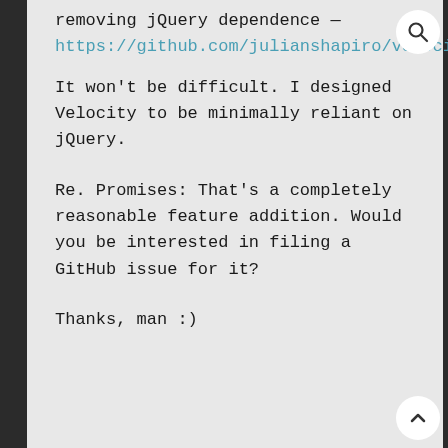removing jQuery dependence — https://github.com/julianshapiro/velocity/is
It won't be difficult. I designed Velocity to be minimally reliant on jQuery.

Re. Promises: That's a completely reasonable feature addition. Would you be interested in filing a GitHub issue for it?

Thanks, man :)
Gamanuel Fleurmond
# April 30, 2014
Promises would make this so powerful